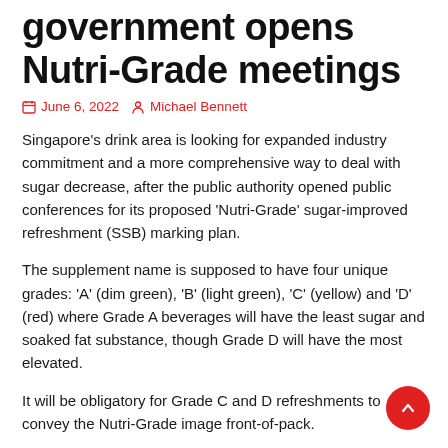government opens Nutri-Grade meetings
June 6, 2022  Michael Bennett
Singapore's drink area is looking for expanded industry commitment and a more comprehensive way to deal with sugar decrease, after the public authority opened public conferences for its proposed 'Nutri-Grade' sugar-improved refreshment (SSB) marking plan.
The supplement name is supposed to have four unique grades: 'A' (dim green), 'B' (light green), 'C' (yellow) and 'D' (red) where Grade A beverages will have the least sugar and soaked fat substance, though Grade D will have the most elevated.
It will be obligatory for Grade C and D refreshments to convey the Nutri-Grade image front-of-pack.
This has been affirmed in the draft guidelines overseeing plan, which the Singapore Ministry of Health (MOH) and Health